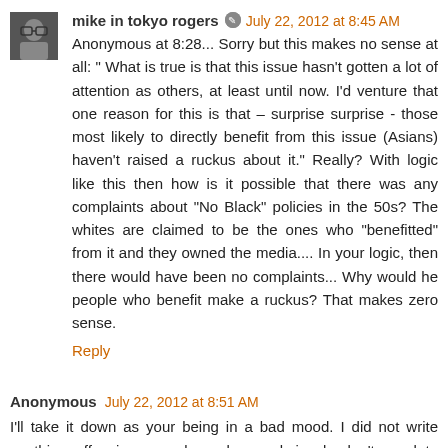mike in tokyo rogers · July 22, 2012 at 8:45 AM
Anonymous at 8:28... Sorry but this makes no sense at all: " What is true is that this issue hasn't gotten a lot of attention as others, at least until now. I'd venture that one reason for this is that – surprise surprise - those most likely to directly benefit from this issue (Asians) haven't raised a ruckus about it." Really? With logic like this then how is it possible that there was any complaints about "No Black" policies in the 50s? The whites are claimed to be the ones who "benefitted" from it and they owned the media.... In your logic, then there would have been no complaints... Why would he people who benefit make a ruckus? That makes zero sense.
Reply
Anonymous July 22, 2012 at 8:51 AM
I'll take it down as your being in a bad mood. I did not write anything offensive or rude and you obviously don't need to answer my questions (let alone approve them) if you think they are so stupid. I made substantive points. Greenspan